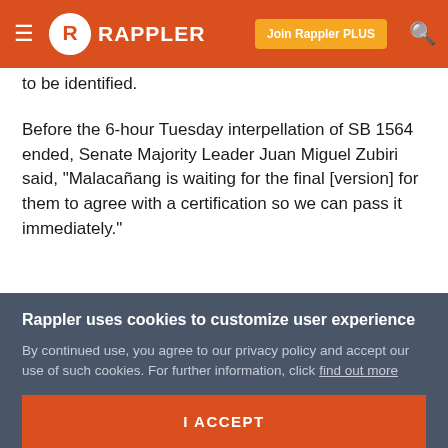RAPPLER | Join Rappler PLUS
to be identified.
Before the 6-hour Tuesday interpellation of SB 1564 ended, Senate Majority Leader Juan Miguel Zubiri said, "Malacañang is waiting for the final [version] for them to agree with a certification so we can pass it immediately."
"In the absence of that, I can only commit for second reading," Zubiri said. – with reports from Lian Buan/Rappler.com
Rappler uses cookies to customize user experience
By continued use, you agree to our privacy policy and accept our use of such cookies. For further information, click find out more
I ACCEPT